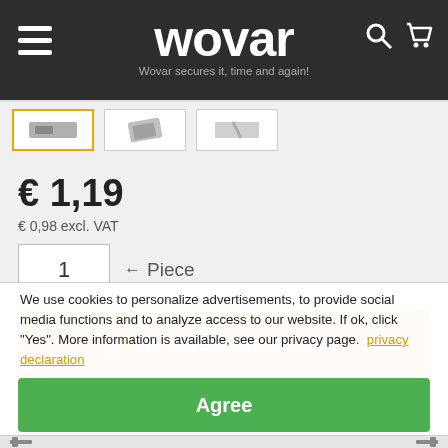wovar — Wovar secures it, time and again!
[Figure (screenshot): Product thumbnail strip with two thumbnail images]
€ 1,19
€ 0,98 excl. VAT
1 ← Piece
IN SHOPPING CART
✓ 778 Piece in stock
We use cookies to personalize advertisements, to provide social media functions and to analyze access to our website. If ok, click "Yes". More information is available, see our privacy page. privacy declaration
Agree